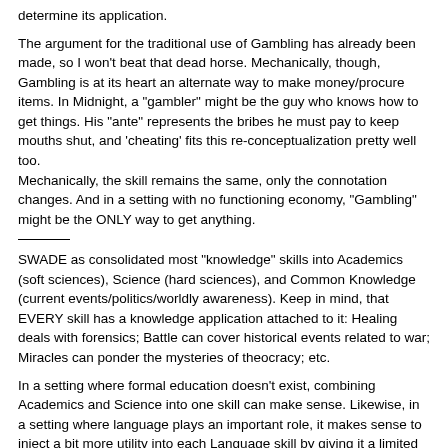determine its application.
The argument for the traditional use of Gambling has already been made, so I won't beat that dead horse. Mechanically, though, Gambling is at its heart an alternate way to make money/procure items. In Midnight, a "gambler" might be the guy who knows how to get things. His "ante" represents the bribes he must pay to keep mouths shut, and 'cheating' fits this re-conceptualization pretty well too.
Mechanically, the skill remains the same, only the connotation changes. And in a setting with no functioning economy, "Gambling" might be the ONLY way to get anything.
SWADE as consolidated most "knowledge" skills into Academics (soft sciences), Science (hard sciences), and Common Knowledge (current events/politics/worldly awareness). Keep in mind, that EVERY skill has a knowledge application attached to it: Healing deals with forensics; Battle can cover historical events related to war; Miracles can ponder the mysteries of theocracy; etc.
In a setting where formal education doesn't exist, combining Academics and Science into one skill can make sense. Likewise, in a setting where language plays an important role, it makes sense to inject a bit more utility into each Language skill by giving it a limited capacity for geographical/cultural knowledge. As mentioned, it's a good idea to "formalize" these changes as a Setting Rule.
And of all the changes, the ones involving Language look to need to most attention. As I mentioned, Language (having the importance it does) should